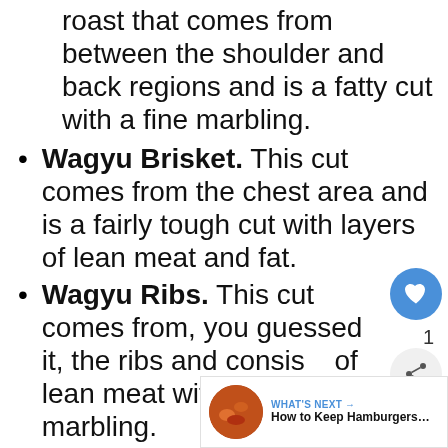roast that comes from between the shoulder and back regions and is a fatty cut with a fine marbling.
Wagyu Brisket. This cut comes from the chest area and is a fairly tough cut with layers of lean meat and fat.
Wagyu Ribs. This cut comes from, you guessed it, the ribs and consists of lean meat with a very fine marbling.
Wagyu Skirt Steak. This is a cut from the plate and is a deep red meat that tastes like actual red meat